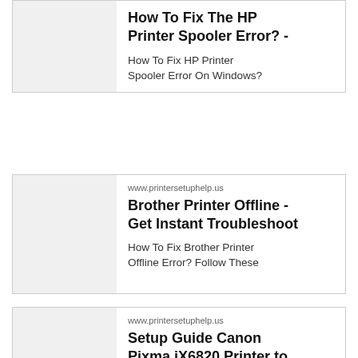[Figure (screenshot): Card 1: HP Printer Spooler Error article thumbnail on left, title 'How To Fix The HP Printer Spooler Error? -' and description 'How To Fix HP Printer Spooler Error On Windows?' on right]
[Figure (screenshot): Card 2: Brother Printer Offline article - www.printersetuphelp.us, title 'Brother Printer Offline - Get Instant Troubleshoot', description 'How To Fix Brother Printer Offline Error? Follow These']
[Figure (screenshot): Card 3: Canon Pixma iX6820 article - www.printersetuphelp.us, title 'Setup Guide Canon Pixma iX6820 Printer to', description 'We have explained you the detailed steps for Canon']